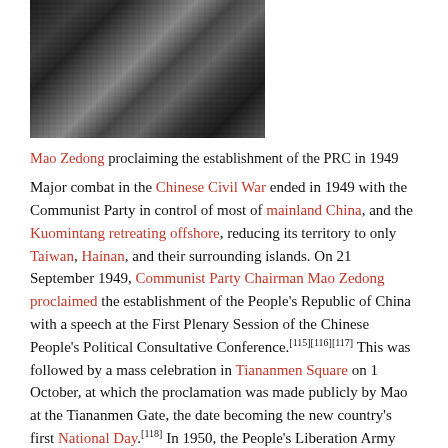[Figure (photo): Black and white photograph of Mao Zedong proclaiming the establishment of the PRC in 1949, showing figures in military attire.]
Mao Zedong proclaiming the establishment of the PRC in 1949
Major combat in the Chinese Civil War ended in 1949 with the Communist Party in control of most of mainland China, and the Kuomintang retreating offshore, reducing its territory to only Taiwan, Hainan, and their surrounding islands. On 21 September 1949, Communist Party Chairman Mao Zedong proclaimed the establishment of the People's Republic of China with a speech at the First Plenary Session of the Chinese People's Political Consultative Conference.[115][116][117] This was followed by a mass celebration in Tiananmen Square on 1 October, at which the proclamation was made publicly by Mao at the Tiananmen Gate, the date becoming the new country's first National Day.[118] In 1950, the People's Liberation Army captured Hainan from the ROC[119] and incorporated Tibet.[120] However, remaining Kuomintang forces continued to wage an insurgency in western China throughout the 1950s.[121]
The regime consolidated its popularity among the peasants